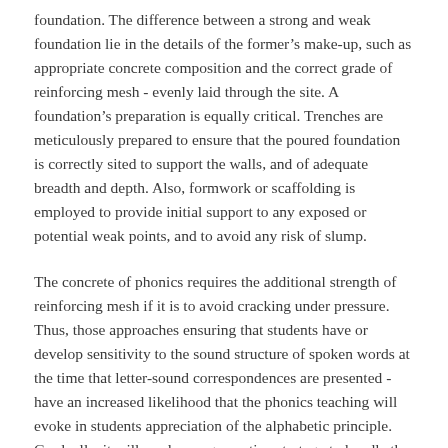foundation. The difference between a strong and weak foundation lie in the details of the former's make-up, such as appropriate concrete composition and the correct grade of reinforcing mesh - evenly laid through the site. A foundation's preparation is equally critical. Trenches are meticulously prepared to ensure that the poured foundation is correctly sited to support the walls, and of adequate breadth and depth. Also, formwork or scaffolding is employed to provide initial support to any exposed or potential weak points, and to avoid any risk of slump.
The concrete of phonics requires the additional strength of reinforcing mesh if it is to avoid cracking under pressure. Thus, those approaches ensuring that students have or develop sensitivity to the sound structure of spoken words at the time that letter-sound correspondences are presented - have an increased likelihood that the phonics teaching will evoke in students appreciation of the alphabetic principle. Gradually, it will produce a generative strategy to handle the eventual heavy load